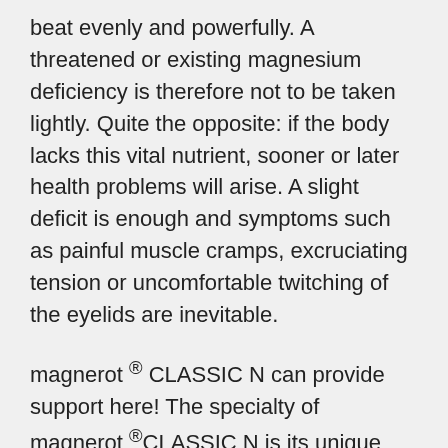beat evenly and powerfully. A threatened or existing magnesium deficiency is therefore not to be taken lightly. Quite the opposite: if the body lacks this vital nutrient, sooner or later health problems will arise. A slight deficit is enough and symptoms such as painful muscle cramps, excruciating tension or uncomfortable twitching of the eyelids are inevitable.
magnerot ® CLASSIC N can provide support here! The specialty of magnerot ®CLASSIC N is its unique combination of magnesium and organic orotic acid. Magnesium orotate is one of the organic magnesium compounds. These are usually better absorbed by the body. Orotic acid